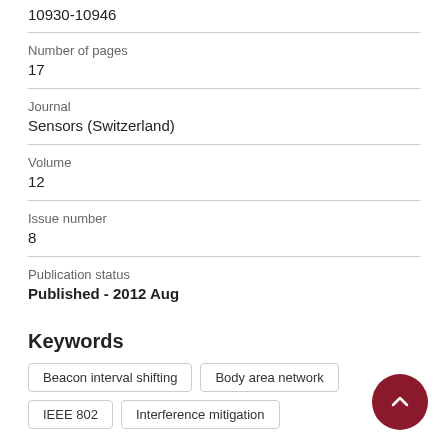10930-10946
Number of pages
17
Journal
Sensors (Switzerland)
Volume
12
Issue number
8
Publication status
Published - 2012 Aug
Keywords
Beacon interval shifting
Body area network
IEEE 802
Interference mitigation